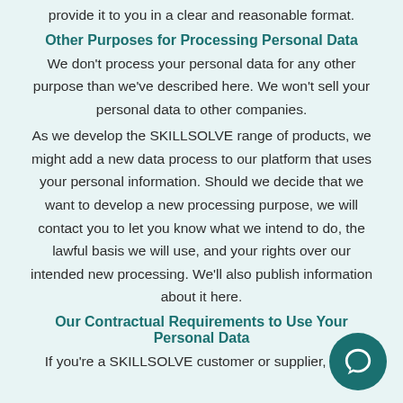provide it to you in a clear and reasonable format.
Other Purposes for Processing Personal Data
We don't process your personal data for any other purpose than we've described here. We won't sell your personal data to other companies.
As we develop the SKILLSOLVE range of products, we might add a new data process to our platform that uses your personal information. Should we decide that we want to develop a new processing purpose, we will contact you to let you know what we intend to do, the lawful basis we will use, and your rights over our intended new processing. We'll also publish information about it here.
Our Contractual Requirements to Use Your Personal Data
If you're a SKILLSOLVE customer or supplier, it's a